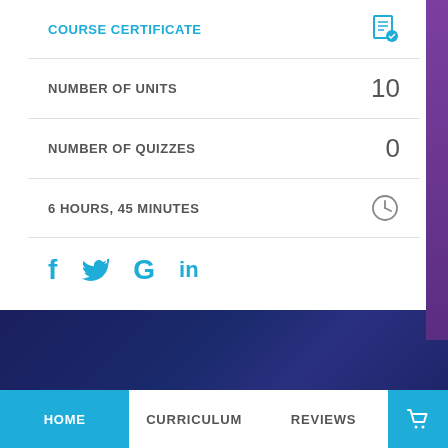COURSE CERTIFICATE
NUMBER OF UNITS   10
NUMBER OF QUIZZES   0
6 HOURS, 45 MINUTES
[Figure (screenshot): Social media share icons: Facebook (f), Twitter (bird), Google (G), LinkedIn (in) in teal/blue color]
[Figure (screenshot): Dark blue geometric background with triangular shapes]
HOME   CURRICULUM   REVIEWS
Are you aware of the importance of protecting your money not just for yourself, but also for your business? Do you know that there are other ways on how to protect your money especially through online with Paypal? If so, then